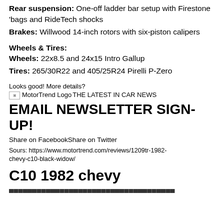Rear suspension: One-off ladder bar setup with Firestone 'bags and RideTech shocks
Brakes: Willwood 14-inch rotors with six-piston calipers
Wheels & Tires:
Wheels: 22x8.5 and 24x15 Intro Gallup
Tires: 265/30R22 and 405/25R24 Pirelli P-Zero
Looks good! More details?
[MotorTrend Logo] THE LATEST IN CAR NEWS
EMAIL NEWSLETTER SIGN-UP!
Share on FacebookShare on Twitter
Sours: https://www.motortrend.com/reviews/1209tr-1982-chevy-c10-black-widow/
C10 1982 chevy
...